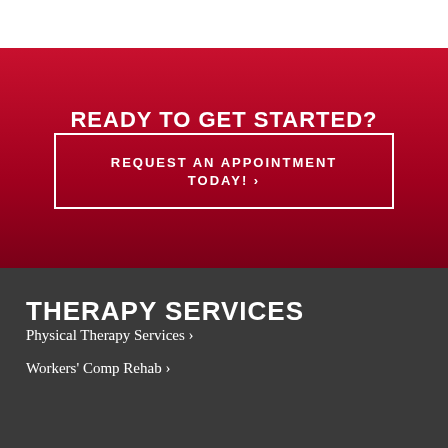READY TO GET STARTED?
REQUEST AN APPOINTMENT TODAY! ›
THERAPY SERVICES
Physical Therapy Services ›
Workers' Comp Rehab ›